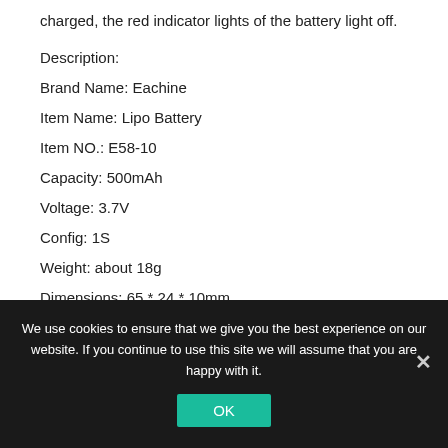charged, the red indicator lights of the battery light off.
Description:
Brand Name: Eachine
Item Name: Lipo Battery
Item NO.: E58-10
Capacity: 500mAh
Voltage: 3.7V
Config: 1S
Weight: about 18g
Dimensions: 65 * 24 * 10mm
Charging time: 60-70mins
We use cookies to ensure that we give you the best experience on our website. If you continue to use this site we will assume that you are happy with it.